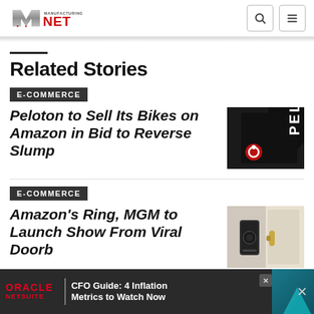Manufacturing.net
Related Stories
E-COMMERCE
Peloton to Sell Its Bikes on Amazon in Bid to Reverse Slump
[Figure (photo): Peloton logo on dark background with red icon]
E-COMMERCE
Amazon's Ring, MGM to Launch Show From Viral Doorb…
[Figure (photo): Door with smart doorbell device]
[Figure (screenshot): Oracle NetSuite ad banner: CFO Guide: 4 Inflation Metrics to Watch Now]